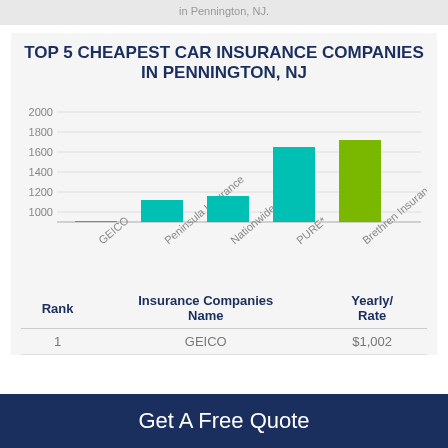in Pennington, NJ.
[Figure (bar-chart): TOP 5 CHEAPEST CAR INSURANCE COMPANIES IN PENNINGTON, NJ]
| Rank | Insurance Companies Name | Yearly/ Rate |
| --- | --- | --- |
| 1 | GEICO | $1,002 |
Get A Free Quote